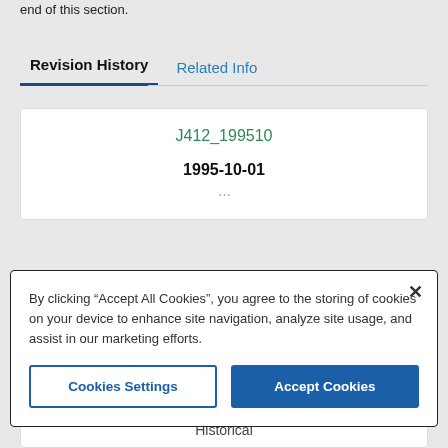end of this section.
Revision History
Related Info
| J412_199510 |
| 1995-10-01 |
By clicking "Accept All Cookies", you agree to the storing of cookies on your device to enhance site navigation, analyze site usage, and assist in our marketing efforts.
Cookies Settings
Accept Cookies
Historical